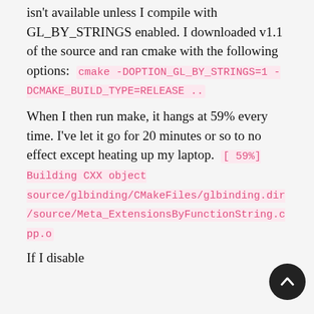isn't available unless I compile with GL_BY_STRINGS enabled. I downloaded v1.1 of the source and ran cmake with the following options: cmake -DOPTION_GL_BY_STRINGS=1 -DCMAKE_BUILD_TYPE=RELEASE ..
When I then run make, it hangs at 59% every time. I've let it go for 20 minutes or so to no effect except heating up my laptop. [ 59%] Building CXX object source/glbinding/CMakeFiles/glbinding.dir/source/Meta_ExtensionsByFunctionString.cpp.o
If I disable